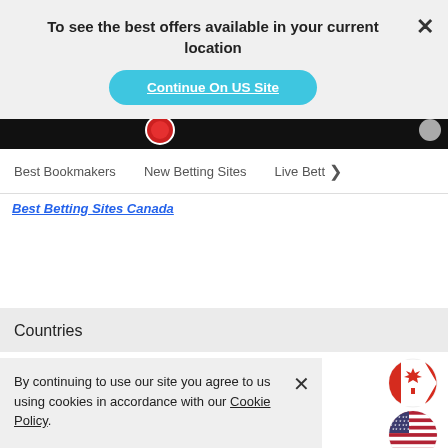To see the best offers available in your current location
Continue On US Site
[Figure (screenshot): Dark navigation image strip with a red poker chip and gray circle visible]
Best Bookmakers   New Betting Sites   Live Bett >
Best Betting Sites Canada
Countries
By continuing to use our site you agree to us using cookies in accordance with our Cookie Policy.
GOT IT
[Figure (illustration): Canadian flag circle icon]
[Figure (illustration): US flag circle icon]